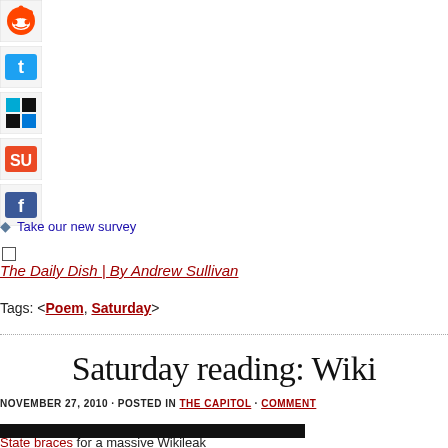[Figure (infographic): Social sharing icons: Reddit, Twitter, Windows/IE, StumbleUpon, Facebook]
Take our new survey
The Daily Dish | By Andrew Sullivan
Tags: <Poem, Saturday>
Saturday reading: Wiki
NOVEMBER 27, 2010 · POSTED IN THE CAPITOL · COMMENT
State braces for a massive Wikileak